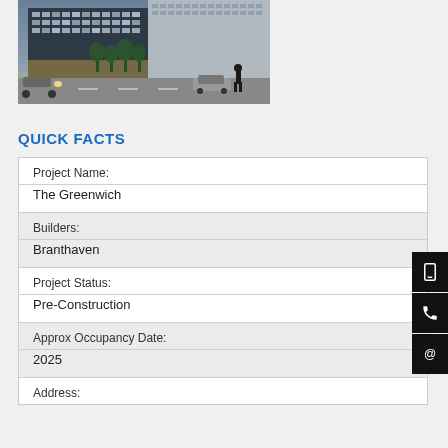[Figure (photo): Exterior rendering of The Greenwich building — a modern mid-rise residential development with glass facade, ground-floor retail with palm trees, cars on the street, and a person walking in the foreground at dusk.]
QUICK FACTS
| Project Name: |  |
| The Greenwich |  |
| Builders: |  |
| Branthaven |  |
| Project Status: |  |
| Pre-Construction |  |
| Approx Occupancy Date: |  |
| 2025 |  |
| Address: |  |